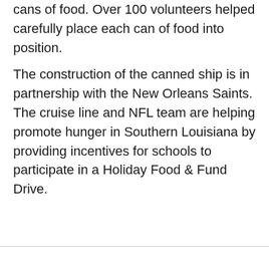cans of food. Over 100 volunteers helped carefully place each can of food into position.
The construction of the canned ship is in partnership with the New Orleans Saints. The cruise line and NFL team are helping promote hunger in Southern Louisiana by providing incentives for schools to participate in a Holiday Food & Fund Drive.